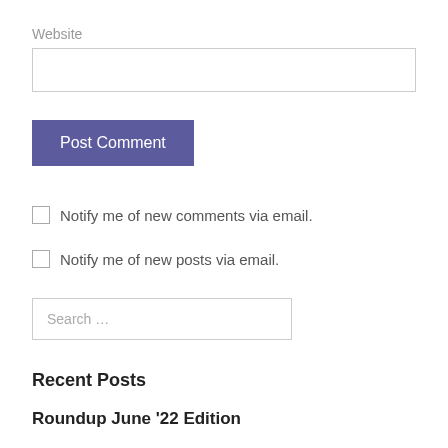Website
Post Comment
Notify me of new comments via email.
Notify me of new posts via email.
Search …
Recent Posts
Roundup June '22 Edition